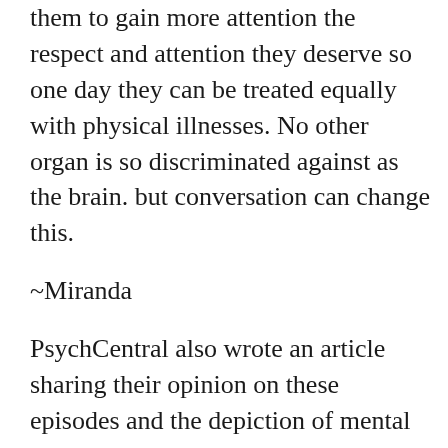them to gain more attention the respect and attention they deserve so one day they can be treated equally with physical illnesses. No other organ is so discriminated against as the brain. but conversation can change this.
~Miranda
PsychCentral also wrote an article sharing their opinion on these episodes and the depiction of mental illness/psychiatric hospitals: http://psychcentral.com/blog/archives/2 in-a-psychiatric-hospital/
P.S. I really love my roommate and she is a very